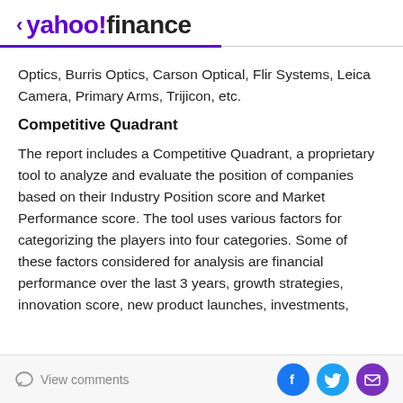< yahoo!finance
Optics, Burris Optics, Carson Optical, Flir Systems, Leica Camera, Primary Arms, Trijicon, etc.
Competitive Quadrant
The report includes a Competitive Quadrant, a proprietary tool to analyze and evaluate the position of companies based on their Industry Position score and Market Performance score. The tool uses various factors for categorizing the players into four categories. Some of these factors considered for analysis are financial performance over the last 3 years, growth strategies, innovation score, new product launches, investments,
View comments